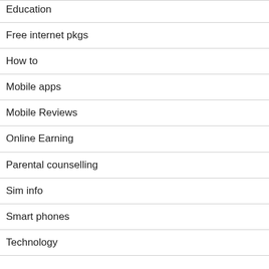Education
Free internet pkgs
How to
Mobile apps
Mobile Reviews
Online Earning
Parental counselling
Sim info
Smart phones
Technology